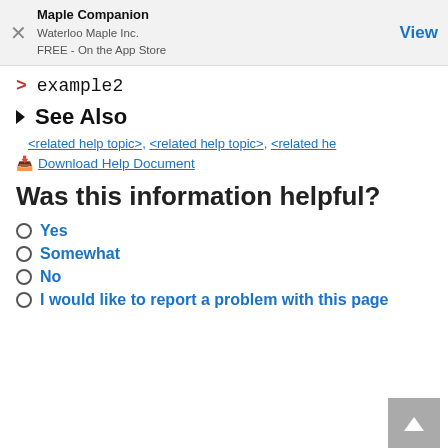Maple Companion
Waterloo Maple Inc.
FREE - On the App Store
View
> example2
See Also
<related help topic>, <related help topic>, <related he
Download Help Document
Was this information helpful?
Yes
Somewhat
No
I would like to report a problem with this page